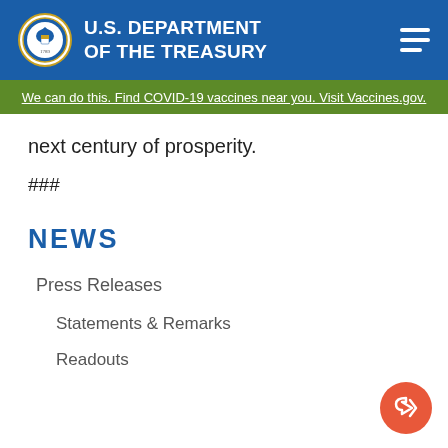U.S. DEPARTMENT OF THE TREASURY
We can do this. Find COVID-19 vaccines near you. Visit Vaccines.gov.
next century of prosperity.
###
NEWS
Press Releases
Statements & Remarks
Readouts